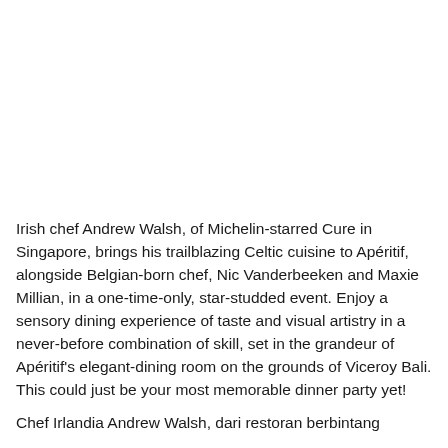Irish chef Andrew Walsh, of Michelin-starred Cure in Singapore, brings his trailblazing Celtic cuisine to Apéritif, alongside Belgian-born chef, Nic Vanderbeeken and Maxie Millian, in a one-time-only, star-studded event. Enjoy a sensory dining experience of taste and visual artistry in a never-before combination of skill, set in the grandeur of Apéritif's elegant-dining room on the grounds of Viceroy Bali. This could just be your most memorable dinner party yet!
Chef Irlandia Andrew Walsh, dari restoran berbintang